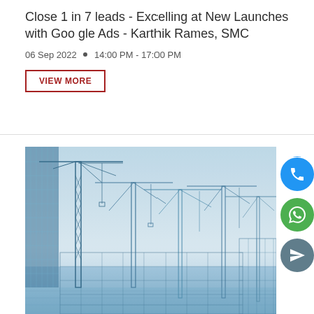Close 1 in 7 leads - Excelling at New Launches with Google Ads - Karthik Rames, SMC
06 Sep 2022  •  14:00 PM - 17:00 PM
VIEW MORE
[Figure (photo): Construction site with multiple tower cranes and building wireframe structures against a light blue sky — a professional architectural/real estate industry illustration in blue tones.]